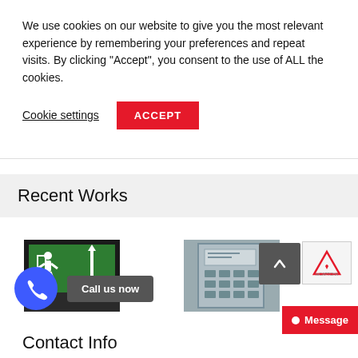We use cookies on our website to give you the most relevant experience by remembering your preferences and repeat visits. By clicking “Accept”, you consent to the use of ALL the cookies.
Cookie settings  ACCEPT
Recent Works
[Figure (photo): Exit sign showing green background with running person and arrow pointing up]
[Figure (photo): Fire alarm panel with display screen and buttons]
Contact Info